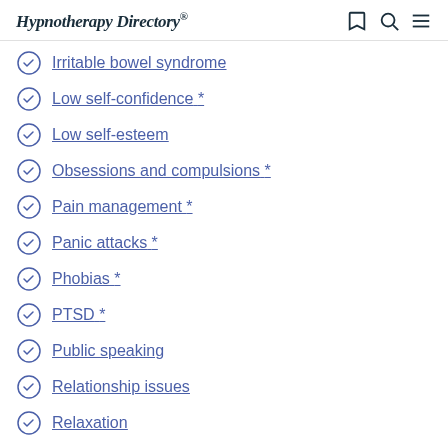Hypnotherapy Directory
Irritable bowel syndrome
Low self-confidence *
Low self-esteem
Obsessions and compulsions *
Pain management *
Panic attacks *
Phobias *
PTSD *
Public speaking
Relationship issues
Relaxation